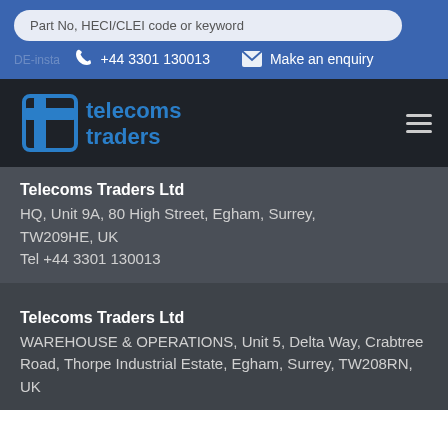Part No, HECI/CLEI code or keyword
+44 3301 130013
Make an enquiry
[Figure (logo): Telecoms Traders Ltd logo with blue stylized T icon and company name in blue text on dark background]
Telecoms Traders Ltd
HQ, Unit 9A, 80 High Street, Egham, Surrey, TW209HE, UK
Tel +44 3301 130013
Telecoms Traders Ltd
WAREHOUSE & OPERATIONS, Unit 5, Delta Way, Crabtree Road, Thorpe Industrial Estate, Egham, Surrey, TW208RN, UK